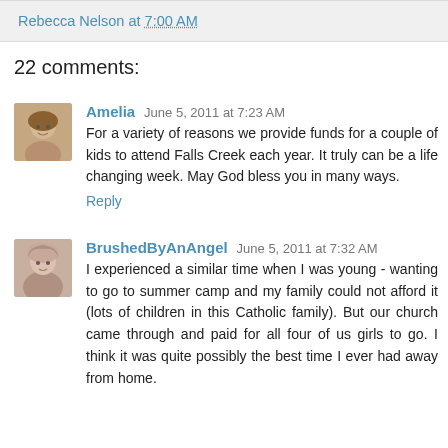Rebecca Nelson at 7:00 AM
22 comments:
Amelia June 5, 2011 at 7:23 AM
For a variety of reasons we provide funds for a couple of kids to attend Falls Creek each year. It truly can be a life changing week. May God bless you in many ways.
Reply
BrushedByAnAngel June 5, 2011 at 7:32 AM
I experienced a similar time when I was young - wanting to go to summer camp and my family could not afford it (lots of children in this Catholic family). But our church came through and paid for all four of us girls to go. I think it was quite possibly the best time I ever had away from home.